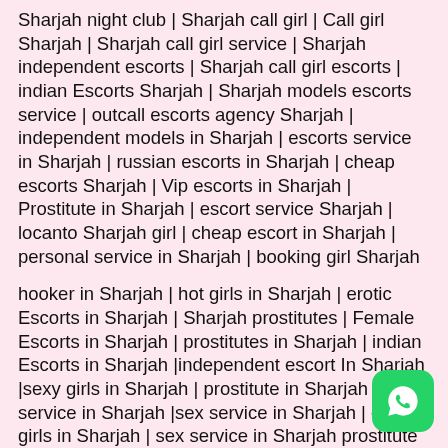Sharjah night club | Sharjah call girl | Call girl Sharjah | Sharjah call girl service | Sharjah independent escorts | Sharjah call girl escorts | indian Escorts Sharjah | Sharjah models escorts service | outcall escorts agency Sharjah | independent models in Sharjah | escorts service in Sharjah | russian escorts in Sharjah | cheap escorts Sharjah | Vip escorts in Sharjah | Prostitute in Sharjah | escort service Sharjah | locanto Sharjah girl | cheap escort in Sharjah | personal service in Sharjah | booking girl Sharjah
hooker in Sharjah | hot girls in Sharjah | erotic Escorts in Sharjah | Sharjah prostitutes | Female Escorts in Sharjah | prostitutes in Sharjah | indian Escorts in Sharjah |independent escort In Sharjah |sexy girls in Sharjah | prostitute in Sharjah | girl service in Sharjah |sex service in Sharjah | escort girls in Sharjah | sex service in Sharjah prostitute Sharjah | escort girls in Sharjah | independent escort in Sharjah | escort service in Sharjah | escort girls Sharjah | Sharjah service | Sharjah girl service | Sharjah escort service
[Figure (other): WhatsApp contact button (green rounded square with phone/chat icon)]